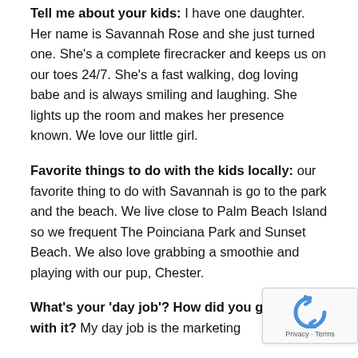Tell me about your kids: I have one daughter. Her name is Savannah Rose and she just turned one. She's a complete firecracker and keeps us on our toes 24/7. She's a fast walking, dog loving babe and is always smiling and laughing. She lights up the room and makes her presence known. We love our little girl.
Favorite things to do with the kids locally: our favorite thing to do with Savannah is go to the park and the beach. We live close to Palm Beach Island so we frequent The Poinciana Park and Sunset Beach. We also love grabbing a smoothie and playing with our pup, Chester.
What's your 'day job'? How did you get started with it? My day job is the marketing...